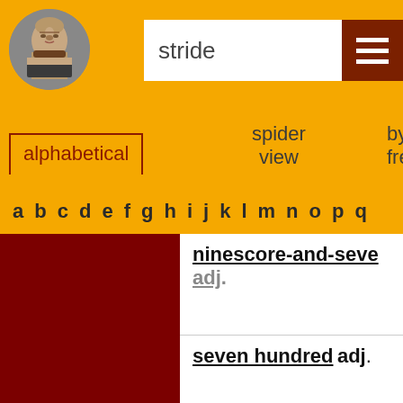[Figure (illustration): Circular portrait of Shakespeare in grayscale]
stride
alphabetical   spider view   by frequency   by
a b c d e f g h i j k l m n o p q
ninescore-and-seve…
adj.
seven hundred adj.
seven thousand adj